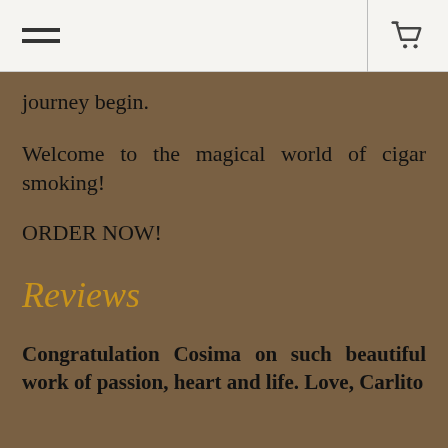[hamburger menu] [cart icon]
journey begin.
Welcome to the magical world of cigar smoking!
ORDER NOW!
Reviews
Congratulation Cosima on such beautiful work of passion, heart and life. Love, Carlito